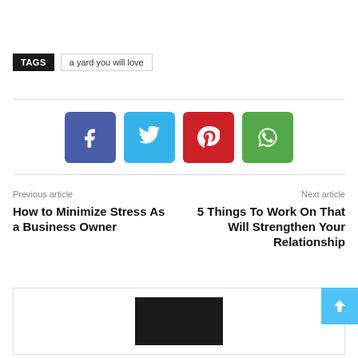TAGS   a yard you will love
[Figure (infographic): Social sharing buttons: Facebook (blue-purple), Twitter (light blue), Pinterest (red), WhatsApp (green)]
Previous article
How to Minimize Stress As a Business Owner
Next article
5 Things To Work On That Will Strengthen Your Relationship
[Figure (photo): Dark image thumbnail in bottom section]